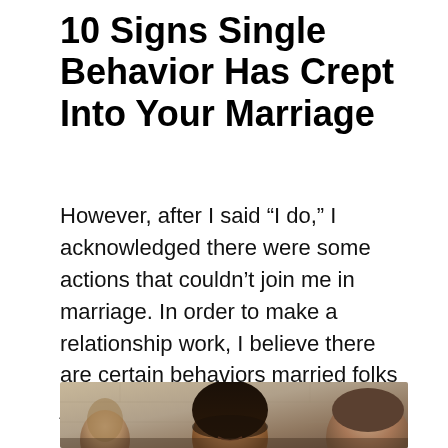10 Signs Single Behavior Has Crept Into Your Marriage
However, after I said “I do,” I acknowledged there were some actions that couldn’t join me in marriage. In order to make a relationship work, I believe there are certain behaviors married folks just shouldn’t do. Here are 10 signs that you may be acting single while married:
[Figure (photo): Photo of a smiling woman with dark hair and a man beside her, with a blurred background suggesting a social setting with brick wall tones]